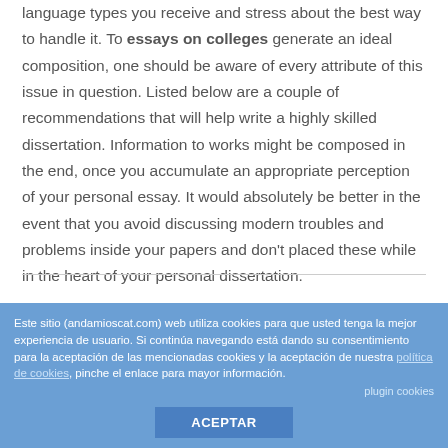language types you receive and stress about the best way to handle it. To essays on colleges generate an ideal composition, one should be aware of every attribute of this issue in question. Listed below are a couple of recommendations that will help write a highly skilled dissertation. Information to works might be composed in the end, once you accumulate an appropriate perception of your personal essay. It would absolutely be better in the event that you avoid discussing modern troubles and problems inside your papers and don't placed these while in the heart of your personal dissertation.
Este sitio (andamioscat.com) web utiliza cookies para que usted tenga la mejor experiencia de usuario. Si continúa navegando está dando su consentimiento para la aceptación de las mencionadas cookies y la aceptación de nuestra política de cookies, pinche el enlace para mayor información.